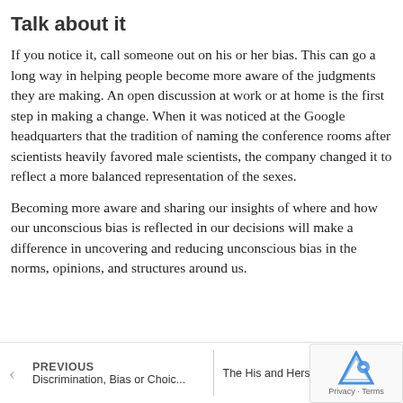Talk about it
If you notice it, call someone out on his or her bias. This can go a long way in helping people become more aware of the judgments they are making. An open discussion at work or at home is the first step in making a change. When it was noticed at the Google headquarters that the tradition of naming the conference rooms after scientists heavily favored male scientists, the company changed it to reflect a more balanced representation of the sexes.
Becoming more aware and sharing our insights of where and how our unconscious bias is reflected in our decisions will make a difference in uncovering and reducing unconscious bias in the norms, opinions, and structures around us.
PREVIOUS
Discrimination, Bias or Choic... | The His and Hers of Netw...